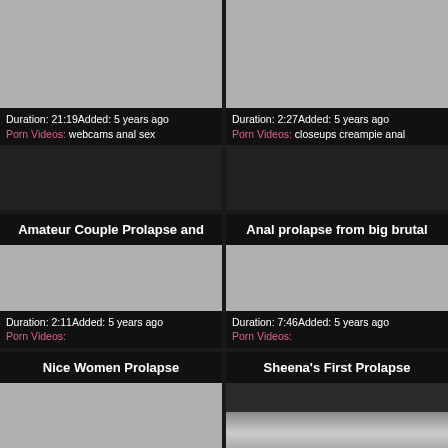[Figure (photo): Video thumbnail placeholder gray, top-left card]
Duration: 21:19Added: 5 years ago
Porn Videos: webcams anal sex
[Figure (photo): Video thumbnail placeholder gray, top-right card]
Duration: 2:27Added: 5 years ago
Porn Videos: closeups creampie anal
Amateur Couple Prolapse and
[Figure (photo): Video thumbnail placeholder gray, middle-left card]
Duration: 2:11Added: 5 years ago
Porn Videos:
Anal prolapse from big brutal
[Figure (photo): Video thumbnail placeholder gray, middle-right card]
Duration: 7:46Added: 5 years ago
Porn Videos:
Nice Women Prolapse
[Figure (photo): Video thumbnail partial, bottom-left card]
Sheena's First Prolapse
[Figure (photo): Video thumbnail partial showing faces, bottom-right card]